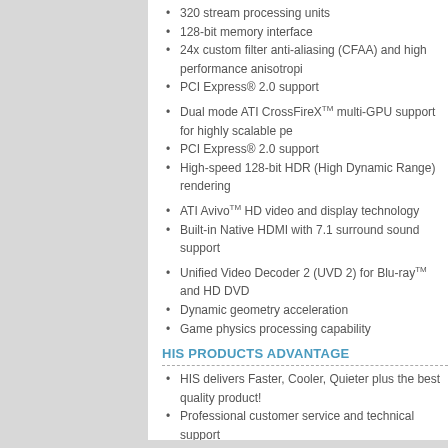320 stream processing units
128-bit memory interface
24x custom filter anti-aliasing (CFAA) and high performance anisotropic
PCI Express® 2.0 support
Dual mode ATI CrossFireX™ multi-GPU support for highly scalable pe…
PCI Express® 2.0 support
High-speed 128-bit HDR (High Dynamic Range) rendering
ATI Avivo™ HD video and display technology
Built-in Native HDMI with 7.1 surround sound support
Unified Video Decoder 2 (UVD 2) for Blu-ray™ and HD DVD
Dynamic geometry acceleration
Game physics processing capability
HIS PRODUCTS ADVANTAGE
HIS delivers Faster, Cooler, Quieter plus the best quality product!
Professional customer service and technical support
What's in the box
HIS Graphics Card
Install CD with Multilingual User Guide and BumpTop
Quick Installation Guide
HIS Power Up Label